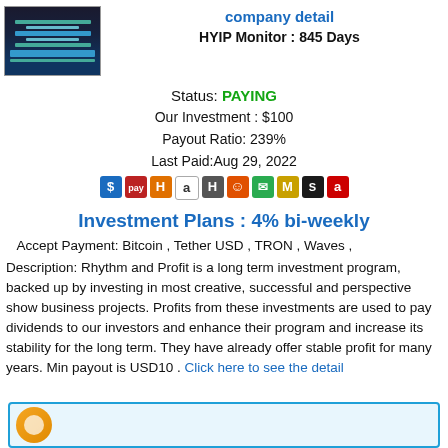[Figure (screenshot): Screenshot of a website login or dashboard page]
company detail
HYIP Monitor : 845 Days
Status: PAYING
Our Investment : $100
Payout Ratio: 239%
Last Paid:Aug 29, 2022
[Figure (infographic): Payment processor icons row: SolidTrustPay, Payeer, H-HYIP, Alphabay, HitBTC, Smiley, WeChat, M icon, Skrill, 'a' icon]
Investment Plans : 4% bi-weekly
Accept Payment: Bitcoin , Tether USD , TRON , Waves ,
Description: Rhythm and Profit is a long term investment program, backed up by investing in most creative, successful and perspective show business projects. Profits from these investments are used to pay dividends to our investors and enhance their program and increase its stability for the long term. They have already offer stable profit for many years. Min payout is USD10 . Click here to see the detail
[Figure (infographic): Bottom banner with orange circle logo and light blue background border]